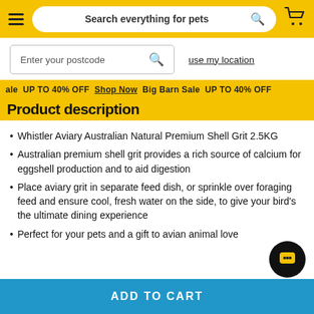Search everything for pets
Enter your postcode   use my location
ale UP TO 40% OFF Shop Now Big Barn Sale UP TO 40% OFF
Product description
Whistler Aviary Australian Natural Premium Shell Grit 2.5KG
Australian premium shell grit provides a rich source of calcium for eggshell production and to aid digestion
Place aviary grit in separate feed dish, or sprinkle over foraging feed and ensure cool, fresh water on the side, to give your bird's the ultimate dining experience
Perfect for your pets and a gift to avian animal love
ADD TO CART